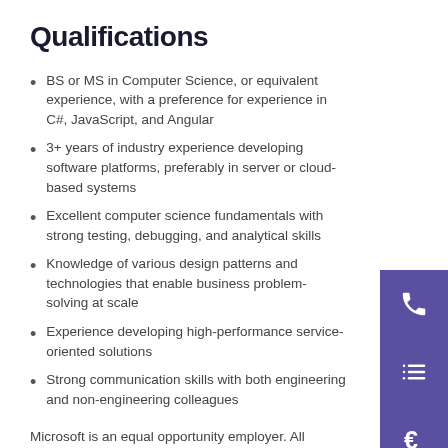Qualifications
BS or MS in Computer Science, or equivalent experience, with a preference for experience in C#, JavaScript, and Angular
3+ years of industry experience developing software platforms, preferably in server or cloud-based systems
Excellent computer science fundamentals with strong testing, debugging, and analytical skills
Knowledge of various design patterns and technologies that enable business problem-solving at scale
Experience developing high-performance service-oriented solutions
Strong communication skills with both engineering and non-engineering colleagues
Microsoft is an equal opportunity employer. All qualified applicants will receive consideration for employment without regard to ancestry, color, family or medical care leave, gender identity or expression, genetic information, marital status, medical condition, national origin, physical or mental disability, political affiliation, protected veteran status, race, religion, sex (including pregnancy),